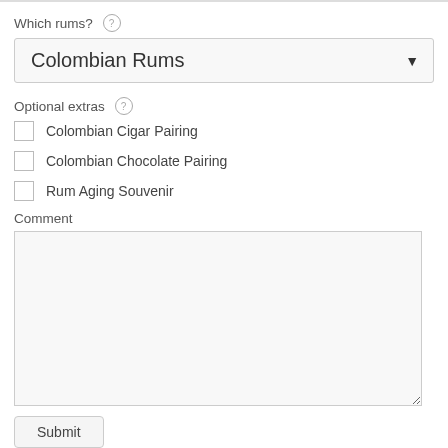Which rums? (?)
[Figure (screenshot): Dropdown selector showing 'Colombian Rums' with a down-arrow button]
Optional extras (?)
Colombian Cigar Pairing
Colombian Chocolate Pairing
Rum Aging Souvenir
Comment
[Figure (screenshot): Empty comment textarea]
Submit